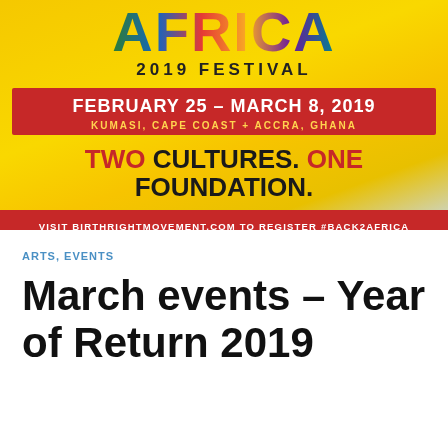[Figure (illustration): Back2Africa 2019 Festival promotional banner with colorful AFRICA text logo, date February 25 – March 8, 2019, location Kumasi, Cape Coast + Accra, Ghana, tagline TWO CULTURES. ONE FOUNDATION., and call to action VISIT BIRTHRIGHTMOVEMENT.COM TO REGISTER #BACK2AFRICA on red bar. Yellow/golden background with light blue diagonal element.]
ARTS, EVENTS
March events – Year of Return 2019